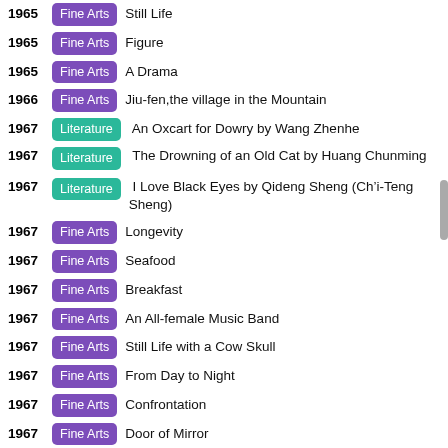1965 Fine Arts Still Life
1965 Fine Arts Figure
1965 Fine Arts A Drama
1966 Fine Arts Jiu-fen,the village in the Mountain
1967 Literature An Oxcart for Dowry by Wang Zhenhe
1967 Literature The Drowning of an Old Cat by Huang Chunming
1967 Literature I Love Black Eyes by Qideng Sheng (Ch’i-Teng Sheng)
1967 Fine Arts Longevity
1967 Fine Arts Seafood
1967 Fine Arts Breakfast
1967 Fine Arts An All-female Music Band
1967 Fine Arts Still Life with a Cow Skull
1967 Fine Arts From Day to Night
1967 Fine Arts Confrontation
1967 Fine Arts Door of Mirror
1968 Cinema The Swordsman of all Swordsmen
1968 Cinema Vengeance of the Phoenix Sisters